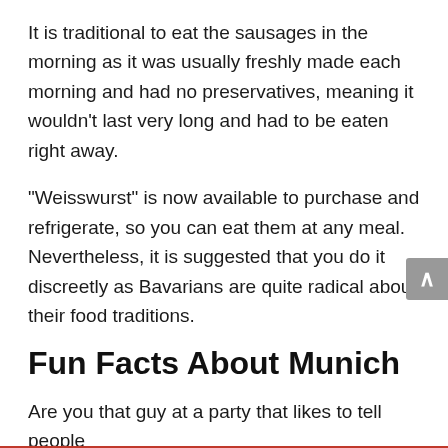It is traditional to eat the sausages in the morning as it was usually freshly made each morning and had no preservatives, meaning it wouldn't last very long and had to be eaten right away.
“Weisswurst” is now available to purchase and refrigerate, so you can eat them at any meal. Nevertheless, it is suggested that you do it discreetly as Bavarians are quite radical about their food traditions.
Fun Facts About Munich
Are you that guy at a party that likes to tell people